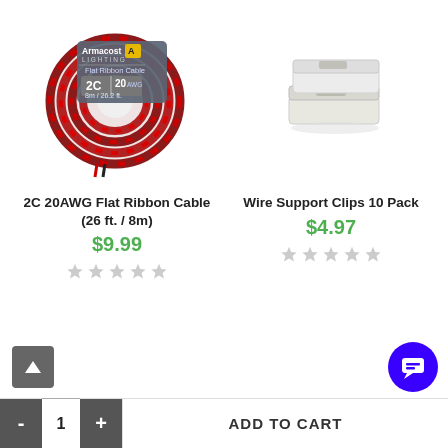[Figure (photo): Armacost branded red-black flat ribbon cable coil (2C 20AWG, 8m/26.2ft)]
2C 20AWG Flat Ribbon Cable (26 ft. / 8m)
$9.99
[Figure (photo): White wire support clips, 10 pack]
Wire Support Clips 10 Pack
$4.97